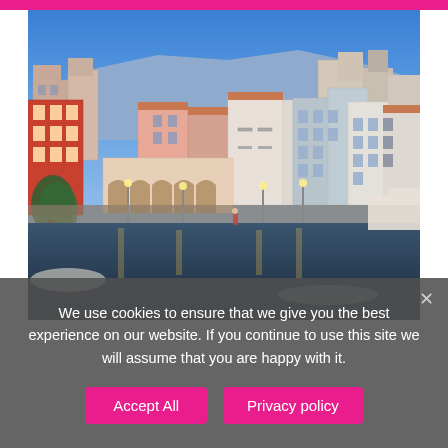[Figure (photo): Colorful Mediterranean coastal town (likely Crete, Greece) with densely packed multi-story buildings on a hillside, waterfront with docks and lamp posts illuminated at dusk/evening, blue sky background]
We use cookies to ensure that we give you the best experience on our website. If you continue to use this site we will assume that you are happy with it.